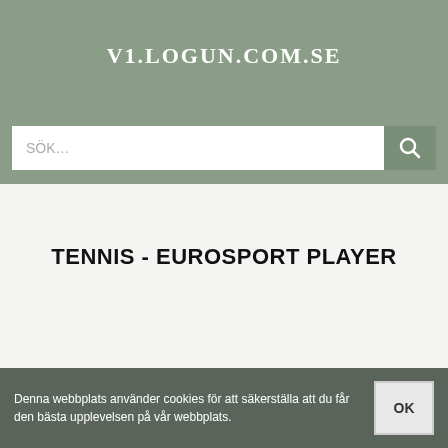V1.LOGUN.COM.SE
SÖK…
TENNIS - EUROSPORT PLAYER
Denna webbplats använder cookies för att säkerställa att du får den bästa upplevelsen på vår webbplats. OK